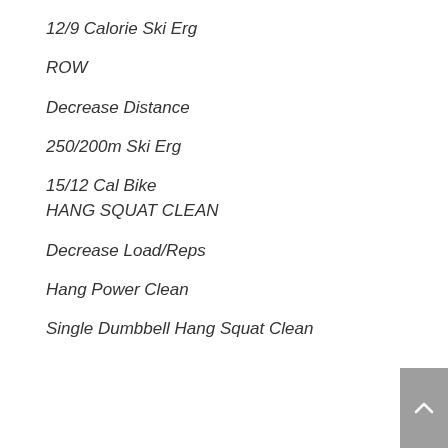12/9 Calorie Ski Erg
ROW
Decrease Distance
250/200m Ski Erg
15/12 Cal Bike
HANG SQUAT CLEAN
Decrease Load/Reps
Hang Power Clean
Single Dumbbell Hang Squat Clean